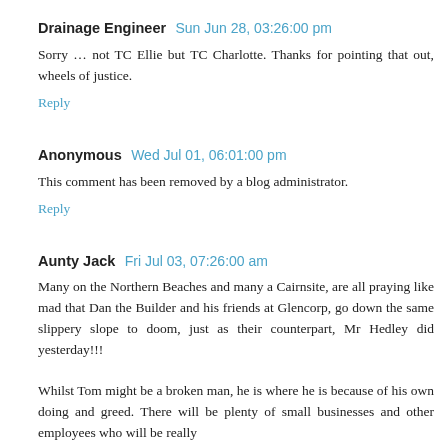Drainage Engineer  Sun Jun 28, 03:26:00 pm
Sorry … not TC Ellie but TC Charlotte. Thanks for pointing that out, wheels of justice.
Reply
Anonymous  Wed Jul 01, 06:01:00 pm
This comment has been removed by a blog administrator.
Reply
Aunty Jack  Fri Jul 03, 07:26:00 am
Many on the Northern Beaches and many a Cairnsite, are all praying like mad that Dan the Builder and his friends at Glencorp, go down the same slippery slope to doom, just as their counterpart, Mr Hedley did yesterday!!!
Whilst Tom might be a broken man, he is where he is because of his own doing and greed. There will be plenty of small businesses and other employees who will be really…